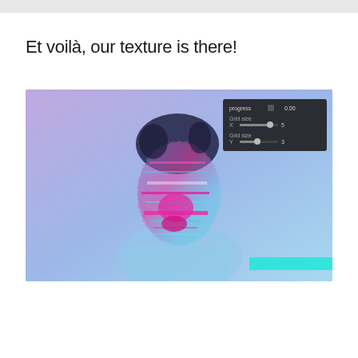Et voilà, our texture is there!
[Figure (screenshot): Screenshot of a digital artwork or software preview showing a glitch-effect portrait of a person with a distorted face rendered in blue, cyan, and magenta/pink tones against a purple-blue background. A dark control panel overlay in the top-right corner shows settings: 'progress', 'Grid size X: 5', 'Grid size Y: 3'.]